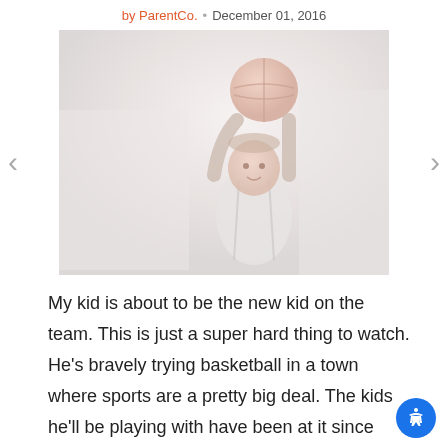by ParentCo. · December 01, 2016
[Figure (photo): A child in a basketball jersey holding a basketball above their head with both arms raised, faded/washed-out photo style]
My kid is about to be the new kid on the team. This is just a super hard thing to watch. He's bravely trying basketball in a town where sports are a pretty big deal. The kids he'll be playing with have been at it since birth. My son ran out of the gym at the end of fro...